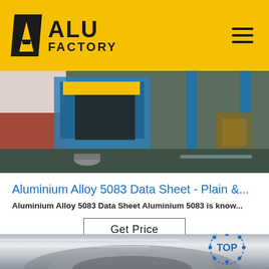ALU FACTORY
[Figure (photo): Interior of an aluminium factory floor showing heavy machinery, blue support columns, and green polished floor]
Aluminium Alloy 5083 Data Sheet - Plain &...
Aluminium Alloy 5083 Data Sheet Aluminium 5083 is know...
Get Price
[Figure (photo): Close-up of a polished aluminium coil roll with a TOP badge/logo in the upper right corner]